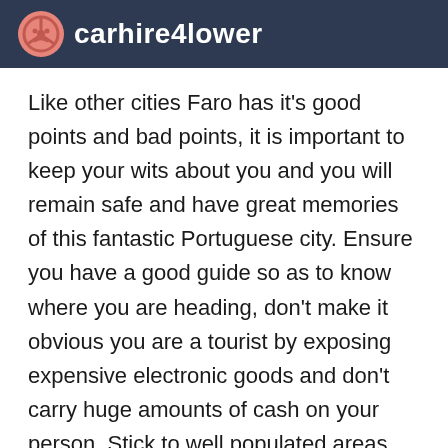carhire4lower
Like other cities Faro has it's good points and bad points, it is important to keep your wits about you and you will remain safe and have great memories of this fantastic Portuguese city. Ensure you have a good guide so as to know where you are heading, don't make it obvious you are a tourist by exposing expensive electronic goods and don't carry huge amounts of cash on your person. Stick to well populated areas after dark and if you find yourself stranded, ask a police officer or hail a cab. Just because you might be on holiday, don't switch off. Bear this is